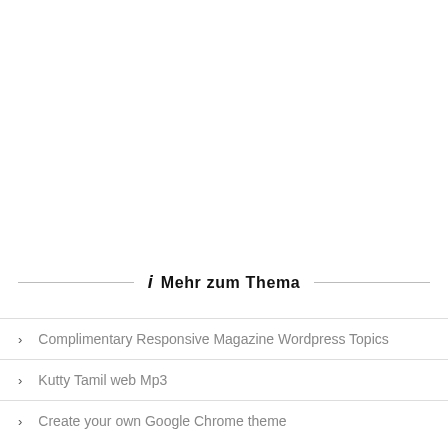Mehr zum Thema
Complimentary Responsive Magazine Wordpress Topics
Kutty Tamil web Mp3
Create your own Google Chrome theme